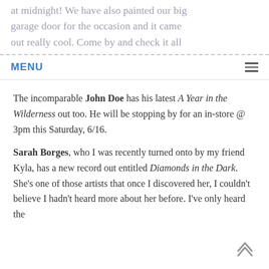at midnight! We have also painted our big garage door for the occasion and it came out really cool. Come by and check it all out!
The incomparable John Doe has his latest A Year in the Wilderness out too. He will be stopping by for an in-store @ 3pm this Saturday, 6/16.
Sarah Borges, who I was recently turned onto by my friend Kyla, has a new record out entitled Diamonds in the Dark. She's one of those artists that once I discovered her, I couldn't believe I hadn't heard more about her before. I've only heard the